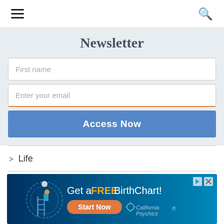Navigation bar with hamburger menu and search icon
Newsletter
First name
Enter your email
Access Now
> Life
> Make Money
[Figure (infographic): Advertisement banner: Get a FREE BirthChart! Start Now - California Psychics. Dark blue background with illustrated figure climbing ladder to moon/zodiac circle.]